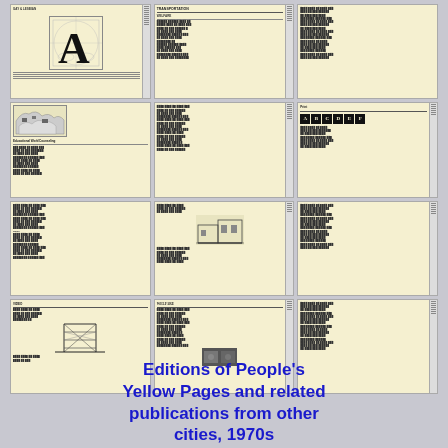[Figure (illustration): A 4x3 grid of thumbnail images showing scanned pages from various editions of People's Yellow Pages and related alternative publications from the 1970s. The thumbnails show pages with typography featuring a large letter A, text columns, maps/diagrams, ABC lettering blocks, architectural drawings, and multi-column directory listings on cream/yellow paper.]
Editions of People's Yellow Pages and related publications from other cities, 1970s